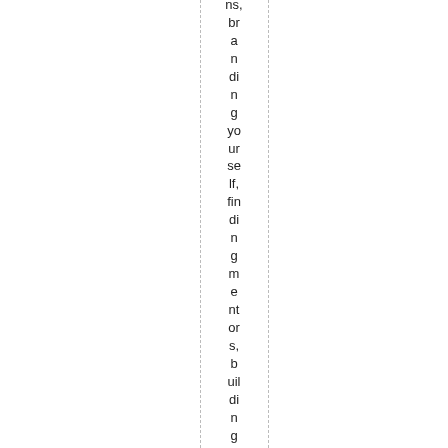ns, branding yourself, finding mentors, building relations